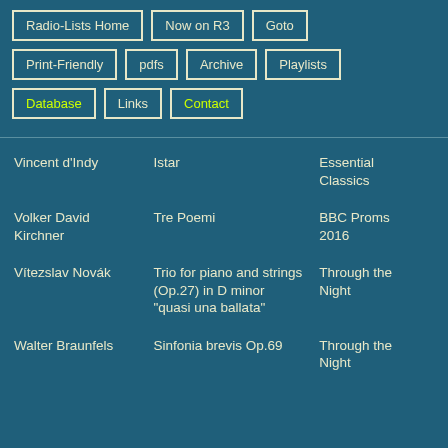Radio-Lists Home
Now on R3
Goto
Print-Friendly
pdfs
Archive
Playlists
Database
Links
Contact
| Composer | Work | Programme | Time |
| --- | --- | --- | --- |
| Vincent d'Indy | Istar | Essential Classics |  |
| Volker David Kirchner | Tre Poemi | BBC Proms 2016 |  |
| Vítezslav Novák | Trio for piano and strings (Op.27) in D minor "quasi una ballata" | Through the Night |  |
| Walter Braunfels | Sinfonia brevis Op.69 | Through the Night |  |